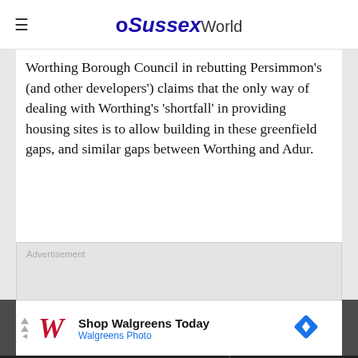≡  OSussexWorld
Worthing Borough Council in rebutting Persimmon's (and other developers') claims that the only way of dealing with Worthing's 'shortfall' in providing housing sites is to allow building in these greenfield gaps, and similar gaps between Worthing and Adur.
[Figure (other): Advertisement placeholder box with label 'Advertisement']
[Figure (other): Walgreens banner advertisement: 'Shop Walgreens Today / Walgreens Photo' with Walgreens cursive logo and blue diamond navigation icon]
Subscribe to support quality local news  |  Subscribe Today